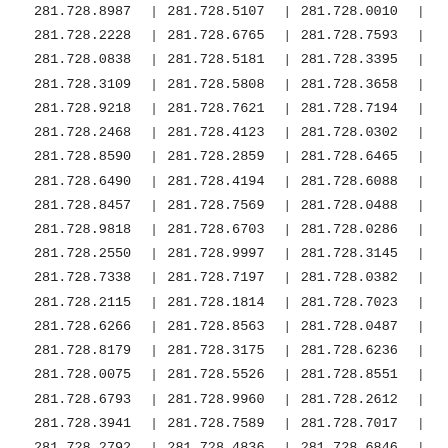| col1 | sep1 | col2 | sep2 | col3 | sep3 |
| --- | --- | --- | --- | --- | --- |
| 281.728.8987 | | | 281.728.5107 | | | 281.728.0010 | | |
| 281.728.2228 | | | 281.728.6765 | | | 281.728.7593 | | |
| 281.728.0838 | | | 281.728.5181 | | | 281.728.3395 | | |
| 281.728.3109 | | | 281.728.5808 | | | 281.728.3658 | | |
| 281.728.9218 | | | 281.728.7621 | | | 281.728.7194 | | |
| 281.728.2468 | | | 281.728.4123 | | | 281.728.0302 | | |
| 281.728.8590 | | | 281.728.2859 | | | 281.728.6465 | | |
| 281.728.6490 | | | 281.728.4194 | | | 281.728.6088 | | |
| 281.728.8457 | | | 281.728.7569 | | | 281.728.0488 | | |
| 281.728.9818 | | | 281.728.6703 | | | 281.728.0286 | | |
| 281.728.2550 | | | 281.728.9997 | | | 281.728.3145 | | |
| 281.728.7338 | | | 281.728.7197 | | | 281.728.0382 | | |
| 281.728.2115 | | | 281.728.1814 | | | 281.728.7023 | | |
| 281.728.6266 | | | 281.728.8563 | | | 281.728.0487 | | |
| 281.728.8179 | | | 281.728.3175 | | | 281.728.6236 | | |
| 281.728.0075 | | | 281.728.5526 | | | 281.728.8551 | | |
| 281.728.6793 | | | 281.728.9960 | | | 281.728.2612 | | |
| 281.728.3941 | | | 281.728.7589 | | | 281.728.7017 | | |
| 281.728.2792 | | | 281.728.4836 | | | 281.728.6846 | | |